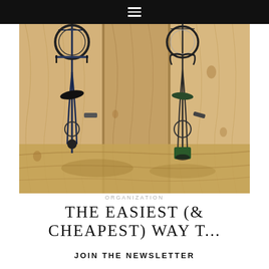☰
[Figure (photo): Two bicycles hanging vertically on a wooden plywood wall in a garage or shed storage area. The bikes are mounted against natural wood-grain plywood panels.]
ORGANIZATION
THE EASIEST (& CHEAPEST) WAY T...
JOIN THE NEWSLETTER